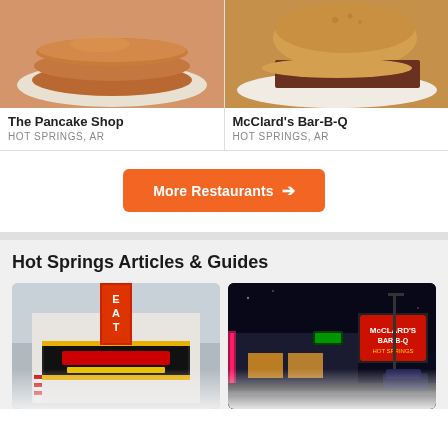[Figure (photo): Stack of pancakes on a plate at The Pancake Shop]
The Pancake Shop
HOT SPRINGS, AR
[Figure (photo): BBQ pulled pork sandwich on a plate at McClard's Bar-B-Q]
McClard's Bar-B-Q
HOT SPRINGS, AR
More Restaurants →
Hot Springs Articles & Guides
[Figure (photo): Theater building exterior in Hot Springs during day]
[Figure (photo): McClard's Bar-B-Q exterior sign lit up at night]